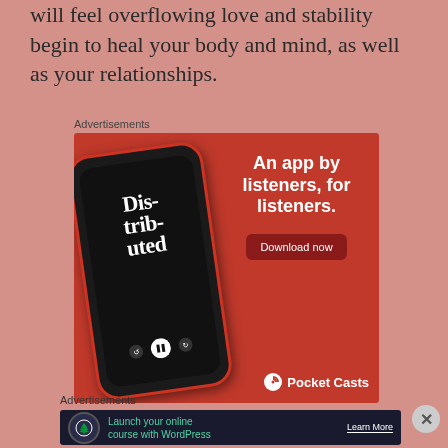will feel overflowing love and stability begin to heal your body and mind, as well as your relationships.
Advertisements
[Figure (illustration): Pocket Casts advertisement. Red background with a smartphone showing a podcast called 'Distributed'. Text reads 'An app by listeners, for listeners.' with a 'Download now' button and Pocket Casts logo.]
Advertisements
[Figure (illustration): Dark banner advertisement: 'Launch your online course with WordPress' with a 'Learn More' button and a tree/person icon.]